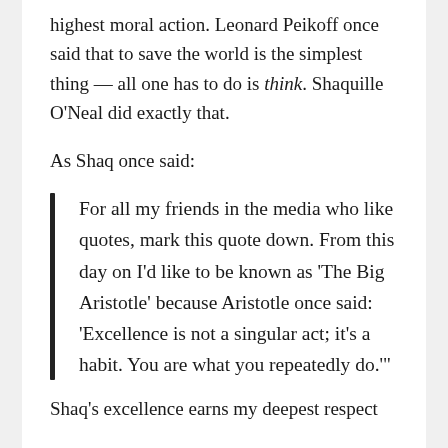highest moral action. Leonard Peikoff once said that to save the world is the simplest thing — all one has to do is think. Shaquille O'Neal did exactly that.
As Shaq once said:
For all my friends in the media who like quotes, mark this quote down. From this day on I'd like to be known as 'The Big Aristotle' because Aristotle once said: 'Excellence is not a singular act; it's a habit. You are what you repeatedly do.'
Shaq's excellence earns my deepest respect